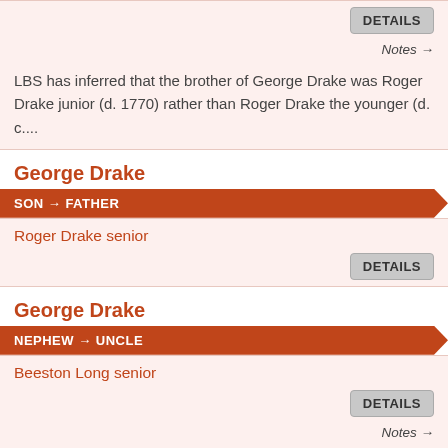LBS has inferred that the brother of George Drake was Roger Drake junior (d. 1770) rather than Roger Drake the younger (d. c....
George Drake
SON → FATHER
Roger Drake senior
George Drake
NEPHEW → UNCLE
Beeston Long senior
Also business...
Address(4)